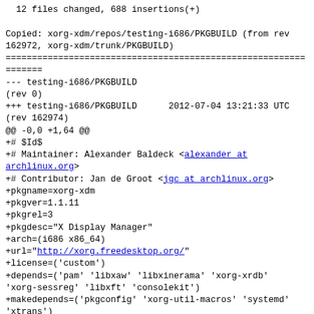12 files changed, 688 insertions(+)
Copied: xorg-xdm/repos/testing-i686/PKGBUILD (from rev 162972, xorg-xdm/trunk/PKGBUILD)
--- testing-i686/PKGBUILD
(rev 0)
+++ testing-i686/PKGBUILD      2012-07-04 13:21:33 UTC
(rev 162974)
@@ -0,0 +1,64 @@
+# $Id$
+# Maintainer: Alexander Baldeck <alexander at archlinux.org>
+# Contributor: Jan de Groot <jgc at archlinux.org>
+pkgname=xorg-xdm
+pkgver=1.1.11
+pkgrel=3
+pkgdesc="X Display Manager"
+arch=(i686 x86_64)
+url="http://xorg.freedesktop.org/"
+license=('custom')
+depends=('pam' 'libxaw' 'libxinerama' 'xorg-xrdb' 'xorg-sessreg' 'libxft' 'consolekit')
+makedepends=('pkgconfig' 'xorg-util-macros' 'systemd' 'xtrans')
+backup=(etc/X11/xdm/Xaccess etc/X11/xdm/Xresources etc/X11/xdm/Xservers etc/X11/xdm/xdm-config etc/pam.d/xdm etc/X11/xdm/Xsetup_0 etc/X11/xdm/Xsession)
+options=('!libtool')